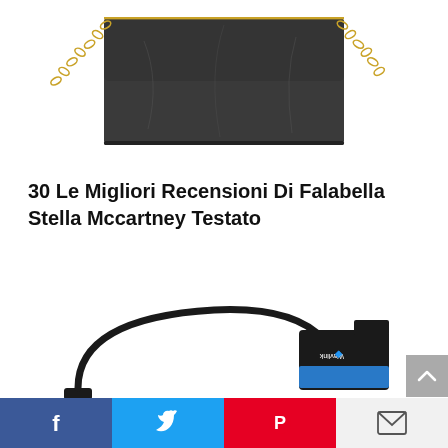[Figure (photo): Top portion of a dark gray/black leather handbag with gold chain strap handles, Falabella Stella McCartney style]
30 Le Migliori Recensioni Di Falabella Stella Mccartney Testato
[Figure (photo): A Wavlink brand SATA to USB cable/adapter with blue SATA connector end and USB-C connector, on white background. A heart/favorite icon is visible in the top right corner.]
Social share bar with Facebook, Twitter, Pinterest, and Email buttons